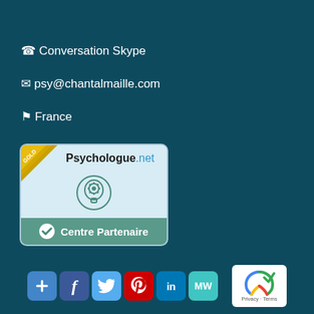☎ Conversation Skype
✉ psy@chantalmaille.com
⚑ France
[Figure (logo): Psychologue.net Centre Partenaire gold badge with brain icon and green checkmark]
[Figure (infographic): Social sharing buttons: Google+, Facebook, Twitter, Pinterest, LinkedIn, MeWe and reCAPTCHA privacy widget]
Privacy · Terms